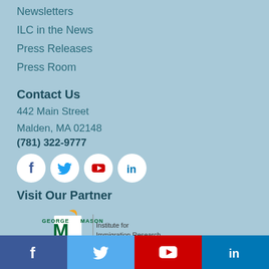Newsletters
ILC in the News
Press Releases
Press Room
Contact Us
442 Main Street
Malden, MA 02148
(781) 322-9777
[Figure (infographic): Social media icons: Facebook, Twitter, YouTube, LinkedIn — white circles on light blue background]
Visit Our Partner
[Figure (logo): George Mason University - Institute for Immigration Research logo]
[Figure (infographic): Footer bar with four social media icon cells: Facebook (dark blue), Twitter (light blue), YouTube (red), LinkedIn (blue)]